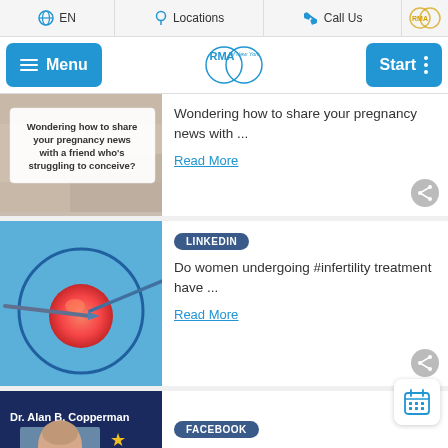EN  Locations  Call Us
[Figure (screenshot): RMA of New York mobile website navigation bar with Menu button, RMA logo, and Start button]
[Figure (photo): Article thumbnail showing text: Wondering how to share your pregnancy news with a friend who's struggling to conceive?]
Wondering how to share your pregnancy news with ...
Read More
[Figure (photo): Scientific image of IVF needle injecting an egg cell, glowing red against a blue background]
LINKEDIN
Do women undergoing #infertility treatment have ...
Read More
[Figure (photo): Photo of Dr. Alan B. Copperman with gold stars, dark blue background]
FACEBOOK
Congratulations to RMA of New York's Dr.